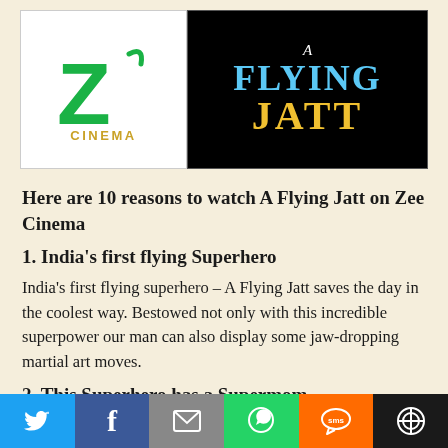[Figure (logo): Zee Cinema logo on white background alongside A Flying Jatt movie title logo on black background]
Here are 10 reasons to watch A Flying Jatt on Zee Cinema
1. India's first flying Superhero
India's first flying superhero – A Flying Jatt saves the day in the coolest way. Bestowed not only with this incredible superpower our man can also display some jaw-dropping martial art moves.
2. This Superhero has a Supermom
[Figure (infographic): Social media share bar with Twitter, Facebook, Email, WhatsApp, SMS, and More buttons]